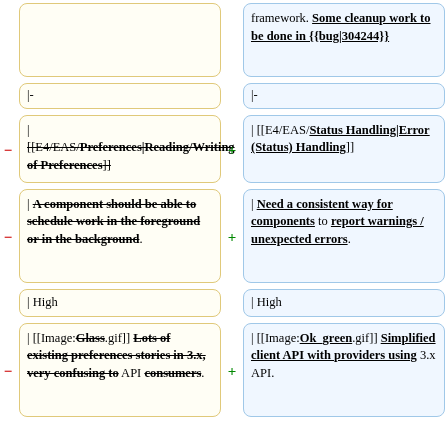framework. Some cleanup work to be done in {{bug|304244}}
|-
|-
| [[E4/EAS/Preferences|Reading/Writing of Preferences]]
| [[E4/EAS/Status Handling|Error (Status) Handling]]
| A component should be able to schedule work in the foreground or in the background.
| Need a consistent way for components to report warnings / unexpected errors.
| High
| High
| [[Image:Glass.gif]] Lots of existing preferences stories in 3.x, very confusing to API consumers.
| [[Image:Ok_green.gif]] Simplified client API with providers using 3.x API.